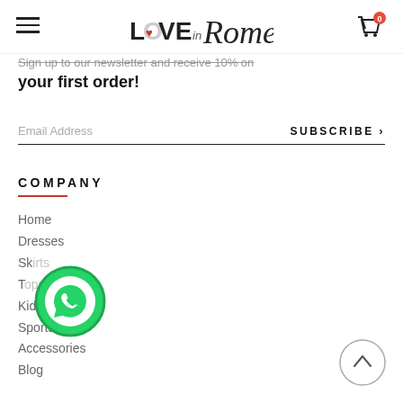Love in Rome — navigation header with hamburger menu and cart icon
Sign up to our newsletter and receive 10% on your first order!
Email Address   SUBSCRIBE >
COMPANY
Home
Dresses
Skirts
Tops
Kids
Sportswear
Accessories
Blog
[Figure (other): WhatsApp floating chat button (green circle with WhatsApp icon)]
[Figure (other): Scroll-to-top circular button with upward chevron arrow]